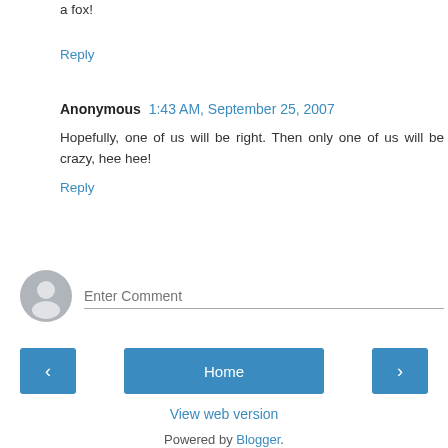a fox!
Reply
Anonymous 1:43 AM, September 25, 2007
Hopefully, one of us will be right. Then only one of us will be crazy, hee hee!
Reply
[Figure (other): Comment input area with avatar icon and Enter Comment placeholder text field]
Home navigation with left arrow, Home button, right arrow
View web version
Powered by Blogger.